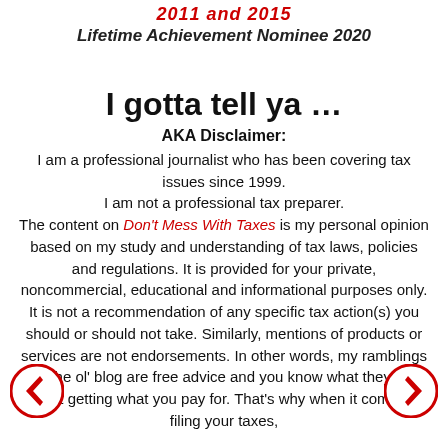2011 and 2015 Lifetime Achievement Nominee 2020
I gotta tell ya …
AKA Disclaimer:
I am a professional journalist who has been covering tax issues since 1999. I am not a professional tax preparer. The content on Don't Mess With Taxes is my personal opinion based on my study and understanding of tax laws, policies and regulations. It is provided for your private, noncommercial, educational and informational purposes only. It is not a recommendation of any specific tax action(s) you should or should not take. Similarly, mentions of products or services are not endorsements. In other words, my ramblings on the ol' blog are free advice and you know what they say about getting what you pay for. That's why when it comes to filing your taxes,